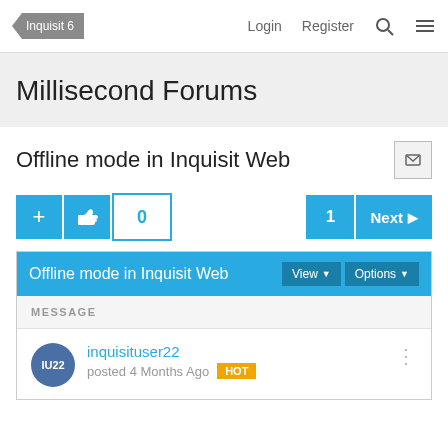Inquisit 6  Login  Register
Millisecond Forums
Offline mode in Inquisit Web
Offline mode in Inquisit Web  View ▼  Options ▼
MESSAGE
inquisituser22  posted 4 Months Ago  HOT